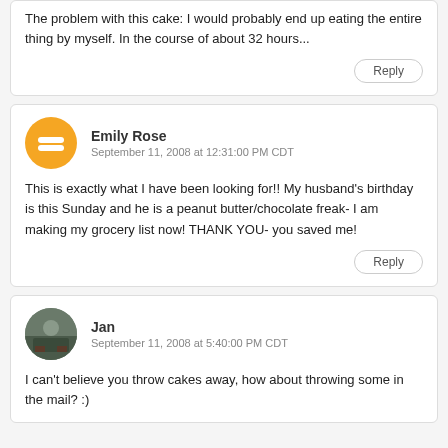The problem with this cake: I would probably end up eating the entire thing by myself. In the course of about 32 hours...
Reply
Emily Rose
September 11, 2008 at 12:31:00 PM CDT
This is exactly what I have been looking for!! My husband's birthday is this Sunday and he is a peanut butter/chocolate freak- I am making my grocery list now! THANK YOU- you saved me!
Reply
Jan
September 11, 2008 at 5:40:00 PM CDT
I can't believe you throw cakes away, how about throwing some in the mail? :)